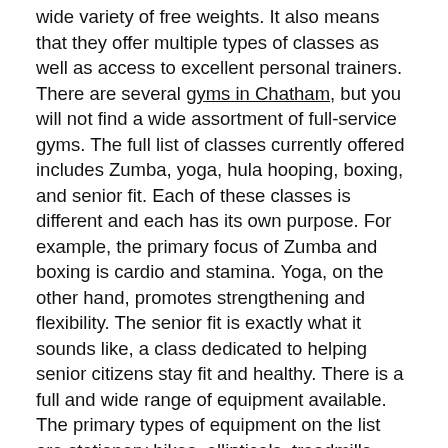wide variety of free weights. It also means that they offer multiple types of classes as well as access to excellent personal trainers. There are several gyms in Chatham, but you will not find a wide assortment of full-service gyms. The full list of classes currently offered includes Zumba, yoga, hula hooping, boxing, and senior fit. Each of these classes is different and each has its own purpose. For example, the primary focus of Zumba and boxing is cardio and stamina. Yoga, on the other hand, promotes strengthening and flexibility. The senior fit is exactly what it sounds like, a class dedicated to helping senior citizens stay fit and healthy. There is a full and wide range of equipment available. The primary types of equipment on the list are stationary bikes, ellipticals, treadmills, stairmasters, a complete Nautilus circuit, free weights, and a gravitron machine. They also provide yoga/exercise mats, stability balls, and various other equipment. Finally, they have a staff of personal trainers ready to help you achieve your body/health goals, whatever they may be. When you request a personal trainer, there are several aspects that will be taken into consideration when a trainer is chosen for you. Some of these aspects include goals, personality, and price.
Now that you know what the Chatham Fitness gym has to offer its patrons, there are a few more details that you